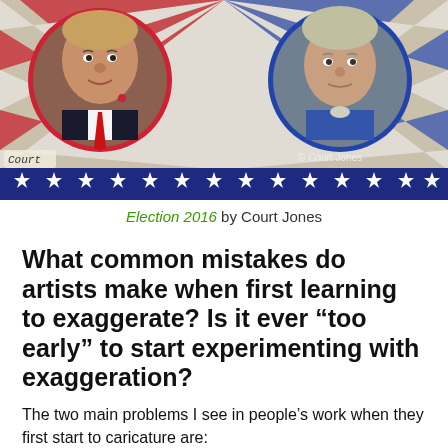[Figure (illustration): Political caricature illustration titled 'Election 2016' by Court Jones, showing two circular portrait caricatures (left: man in suit with red tie, right: woman in blue outfit) against a red, white, and blue starburst background with a row of stars along the bottom. Watermarks: 'Court' label bottom-left, '© Court Jones' bottom-right.]
Election 2016 by Court Jones
What common mistakes do artists make when first learning to exaggerate? Is it ever “too early” to start experimenting with exaggeration?
The two main problems I see in people’s work when they first start to caricature are:
1.  timid portrait-like exaggerations, and on the other